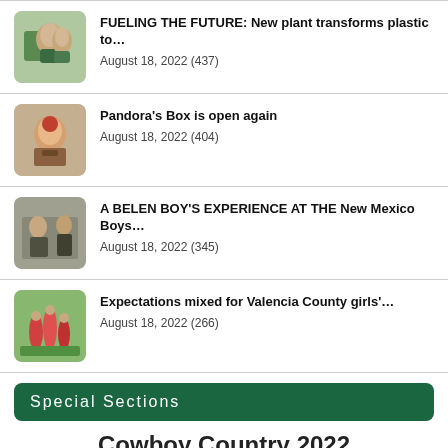FUELING THE FUTURE: New plant transforms plastic to…
August 18, 2022 (437)
Pandora's Box is open again
August 18, 2022 (404)
A BELEN BOY'S EXPERIENCE AT THE New Mexico Boys…
August 18, 2022 (345)
Expectations mixed for Valencia County girls'…
August 18, 2022 (266)
Special Sections
Cowboy Country 2022